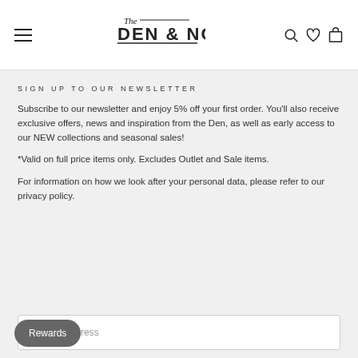The Den & Now — navigation header with hamburger menu, logo, and icons
SIGN UP TO OUR NEWSLETTER
Subscribe to our newsletter and enjoy 5% off your first order. You'll also receive exclusive offers, news and inspiration from the Den, as well as early access to our NEW collections and seasonal sales!
*Valid on full price items only. Excludes Outlet and Sale items.
For information on how we look after your personal data, please refer to our privacy policy.
Enter your email address (input field)